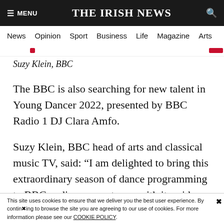THE IRISH NEWS
News  Opinion  Sport  Business  Life  Magazine  Arts
Suzy Klein, BBC
The BBC is also searching for new talent in Young Dancer 2022, presented by BBC Radio 1 DJ Clara Amfo.
Suzy Klein, BBC head of arts and classical music TV, said: “I am delighted to bring this extraordinary season of dance programming to BBC audiences next year with its wide range of incredible artists.
“The return of Young Dancer hosted by Clara Amfo, and Dance Passion, in collaboration with One Dance UK… — BBC
This site uses cookies to ensure that we deliver you the best user experience. By continuing to browse the site you are agreeing to our use of cookies. For more information please see our COOKIE POLICY.